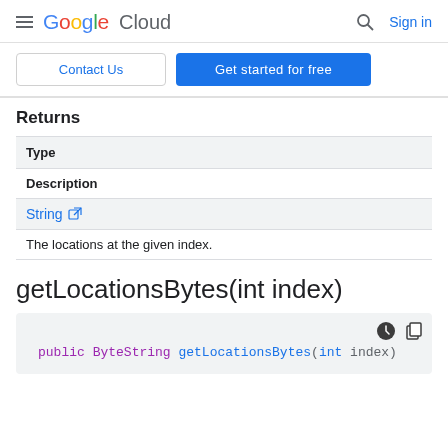Google Cloud  Sign in
Contact Us  Get started for free
Returns
| Type |
| --- |
| Description |
| String ↗ |
| The locations at the given index. |
getLocationsBytes(int index)
public ByteString getLocationsBytes(int index)